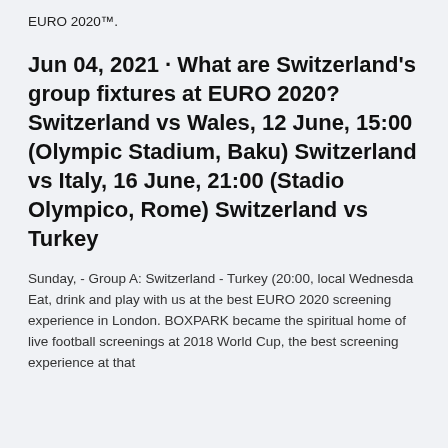EURO 2020™.
Jun 04, 2021 · What are Switzerland's group fixtures at EURO 2020? Switzerland vs Wales, 12 June, 15:00 (Olympic Stadium, Baku) Switzerland vs Italy, 16 June, 21:00 (Stadio Olympico, Rome) Switzerland vs Turkey
Sunday, - Group A: Switzerland - Turkey (20:00, local Wednesda Eat, drink and play with us at the best EURO 2020 screening experience in London. BOXPARK became the spiritual home of live football screenings at 2018 World Cup, the best screening experience at that